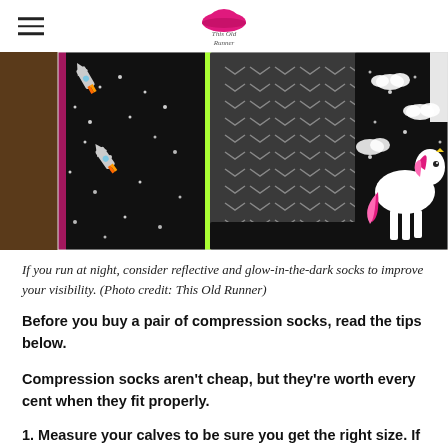This Old Runner (logo)
[Figure (photo): A close-up photograph of several pairs of colorful compression socks fanned out, including socks with space/rocket patterns on black background, dark gray socks with arrow/chevron texture pattern, a neon green sock, and a black sock with unicorn pattern in pink.]
If you run at night, consider reflective and glow-in-the-dark socks to improve your visibility. (Photo credit: This Old Runner)
Before you buy a pair of compression socks, read the tips below.
Compression socks aren't cheap, but they're worth every cent when they fit properly.
1. Measure your calves to be sure you get the right size. If your